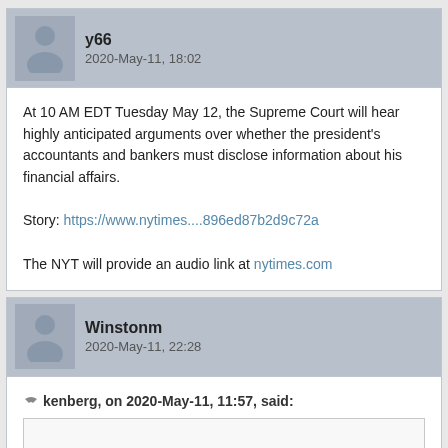y66
2020-May-11, 18:02
At 10 AM EDT Tuesday May 12, the Supreme Court will hear highly anticipated arguments over whether the president's accountants and bankers must disclose information about his financial affairs.

Story: https://www.nytimes....896ed87b2d9c72a

The NYT will provide an audio link at nytimes.com
Winstonm
2020-May-11, 22:28
kenberg, on 2020-May-11, 11:57, said:
Winston, you sort of made my day: